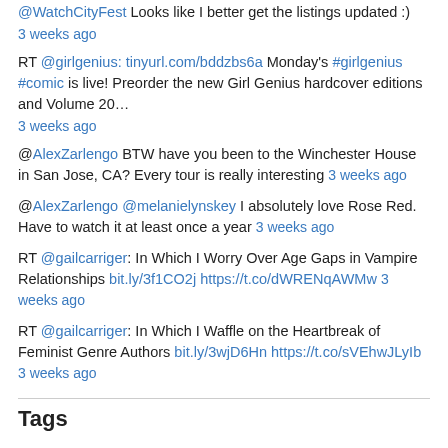@WatchCityFest Looks like I better get the listings updated :) 3 weeks ago
RT @girlgenius: tinyurl.com/bddzbs6a Monday's #girlgenius #comic is live! Preorder the new Girl Genius hardcover editions and Volume 20… 3 weeks ago
@AlexZarlengo BTW have you been to the Winchester House in San Jose, CA? Every tour is really interesting 3 weeks ago
@AlexZarlengo @melanielynskey I absolutely love Rose Red. Have to watch it at least once a year 3 weeks ago
RT @gailcarriger: In Which I Worry Over Age Gaps in Vampire Relationships bit.ly/3f1CO2j https://t.co/dWRENqAWMw 3 weeks ago
RT @gailcarriger: In Which I Waffle on the Heartbreak of Feminist Genre Authors bit.ly/3wjD6Hn https://t.co/sVEhwJLyIb 3 weeks ago
Tags